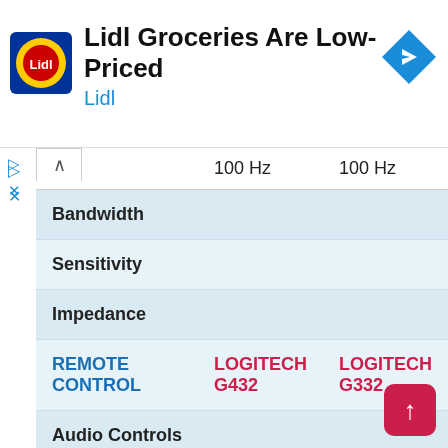[Figure (logo): Lidl grocery store advertisement banner with Lidl logo, title 'Lidl Groceries Are Low-Priced', subtitle 'Lidl', and a blue navigation arrow icon]
|  | 100 Hz | 100 Hz |
| --- | --- | --- |
| Bandwidth | 100 Hz | 100 Hz |
| Sensitivity |  |  |
| Impedance |  |  |
| REMOTE CONTROL | LOGITECH G432 | LOGITECH G332 |
| Audio Controls |  |  |
| Controls |  |  |
| CONNECTION | LOGITECH | LOGITECH |